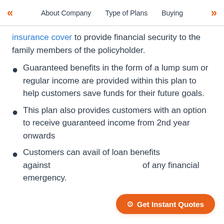About Company | Type of Plans | Buying
insurance cover to provide financial security to the family members of the policyholder.
Guaranteed benefits in the form of a lump sum or regular income are provided within this plan to help customers save funds for their future goals.
This plan also provides customers with an option to receive guaranteed income from 2nd year onwards
Customers can avail of loan benefits against of any financial emergency.